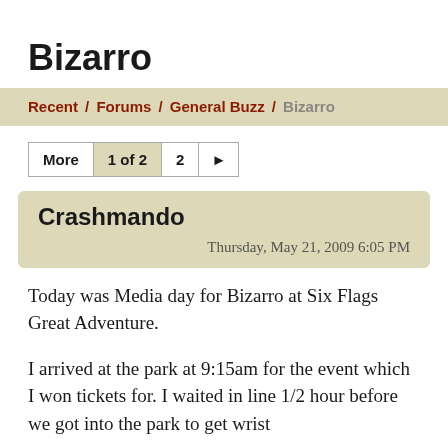Bizarro
Recent / Forums / General Buzz / Bizarro
More  1 of 2  2  ▶
Crashmando
Thursday, May 21, 2009 6:05 PM
Today was Media day for Bizarro at Six Flags Great Adventure.
I arrived at the park at 9:15am for the event which I won tickets for. I waited in line 1/2 hour before we got into the park to get wrist